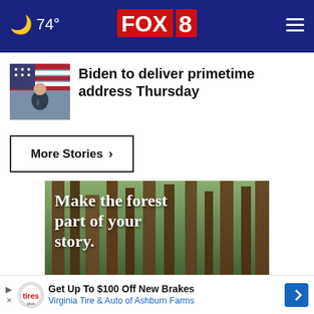🌙 74° FOX 8
[Figure (photo): Thumbnail photo of Biden at a rally with US flag in background]
Biden to deliver primetime address Thursday
More Stories ›
[Figure (photo): Forest advertisement image with text: Make the forest part of your story.]
[Figure (other): Bottom advertisement banner: Get Up To $100 Off New Brakes — Virginia Tire & Auto of Ashburn Farms]